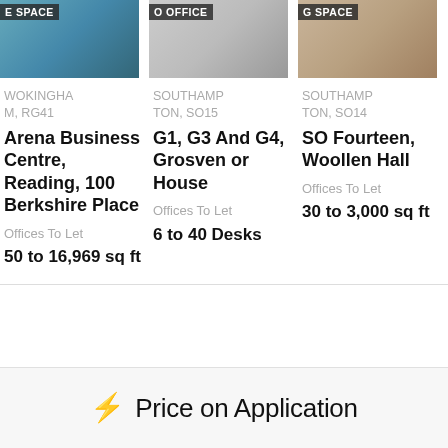[Figure (photo): Office/meeting space photo with label 'E SPACE']
WOKINGHAM, RG41
Arena Business Centre, Reading, 100 Berkshire Place
Offices To Let
50 to 16,969 sq ft
[Figure (photo): Office interior photo with label 'O OFFICE']
SOUTHAMPTON, SO15
G1, G3 And G4, Grosvenor House
Offices To Let
6 to 40 Desks
[Figure (photo): Office space photo with label 'G SPACE']
SOUTHAMPTON, SO14
SO Fourteen, Woollen Hall
Offices To Let
30 to 3,000 sq ft
⚡ Price on Application